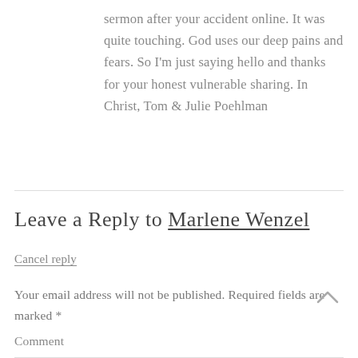sermon after your accident online. It was quite touching. God uses our deep pains and fears. So I'm just saying hello and thanks for your honest vulnerable sharing. In Christ, Tom & Julie Poehlman
Leave a Reply to Marlene Wenzel
Cancel reply
Your email address will not be published. Required fields are marked *
Comment